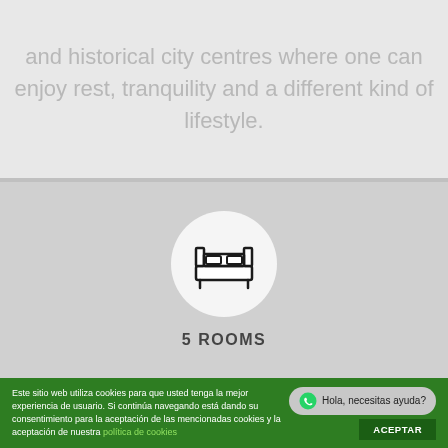and historical city centres where one can enjoy rest, tranquility and a different kind of lifestyle.
[Figure (illustration): Bed/room icon (double bed outline) inside a white circle on a light gray background with label '5 ROOMS' below]
5 ROOMS
Este sitio web utiliza cookies para que usted tenga la mejor experiencia de usuario. Si continúa navegando está dando su consentimiento para la aceptación de las mencionadas cookies y la aceptación de nuestra política de cookies
ACEPTAR
Hola, necesitas ayuda?